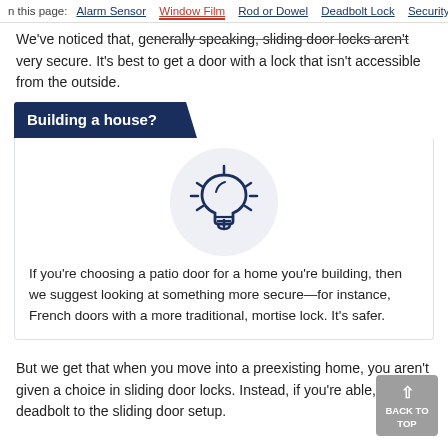n this page: Alarm Sensor  Window Film  Rod or Dowel  Deadbolt Lock  Security
We've noticed that, generally speaking, sliding door locks aren't very secure. It's best to get a door with a lock that isn't accessible from the outside.
Building a house?
[Figure (illustration): Light bulb icon in navy blue outline on a light gray circular background, representing a tip or idea.]
If you're choosing a patio door for a home you're building, then we suggest looking at something more secure—for instance, French doors with a more traditional, mortise lock. It's safer.
But we get that when you move into a preexisting home, you aren't given a choice in sliding door locks. Instead, if you're able, add a deadbolt to the sliding door setup.